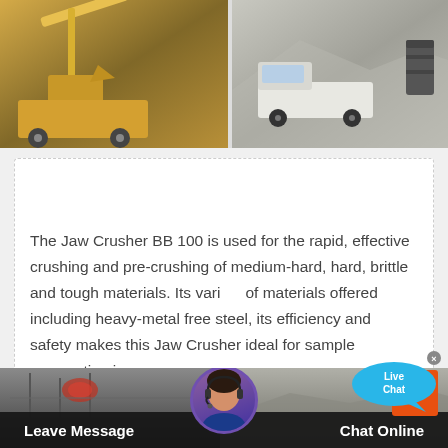[Figure (photo): Two side-by-side photos at top: left shows yellow heavy construction/mining machinery with arm and wheels; right shows a white pickup truck and dark barrel in an arid/quarry setting]
Jaw Crusher BB 100
The Jaw Crusher BB 100 is used for the rapid, effective crushing and pre-crushing of medium-hard, hard, brittle and tough materials. Its variety of materials offered including heavy-metal free steel, its efficiency and safety makes this Jaw Crusher ideal for sample preparation in
[Figure (illustration): Live Chat speech bubble widget with close button (x) in top-right corner, overlaying the text card]
[Figure (photo): Bottom banner showing industrial/mining site imagery in dark gray tones, with an agent avatar (woman with headset) centered, a scroll-to-top orange button on right, and a dark bar at bottom with 'Leave Message' on left and 'Chat Online' on right in white bold text]